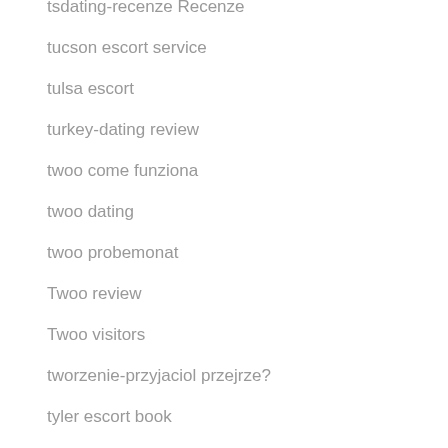tsdating-recenze Recenze
tucson escort service
tulsa escort
turkey-dating review
twoo come funziona
twoo dating
twoo probemonat
Twoo review
Twoo visitors
tworzenie-przyjaciol przejrze?
tyler escort book
types of installment loans
UberHorny visitors
UK seekingarrangements
uk-american-dating review